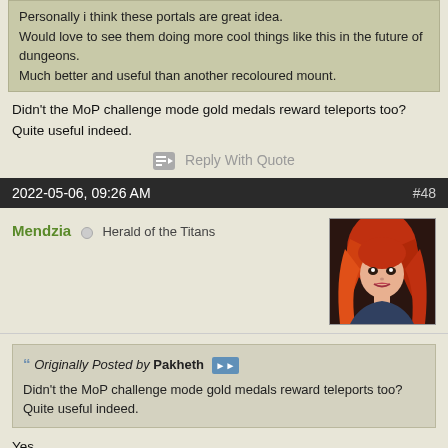Personally i think these portals are great idea.
Would love to see them doing more cool things like this in the future of dungeons.
Much better and useful than another recoloured mount.
Didn't the MoP challenge mode gold medals reward teleports too? Quite useful indeed.
Reply With Quote
2022-05-06, 09:26 AM   #48
Mendzia  Herald of the Titans
Originally Posted by Pakheth
Didn't the MoP challenge mode gold medals reward teleports too? Quite useful indeed.
Yes.
These and WoD CMs got teleports and unique transmogs for armour and weapons which were amazing imho.
Reply With Quote